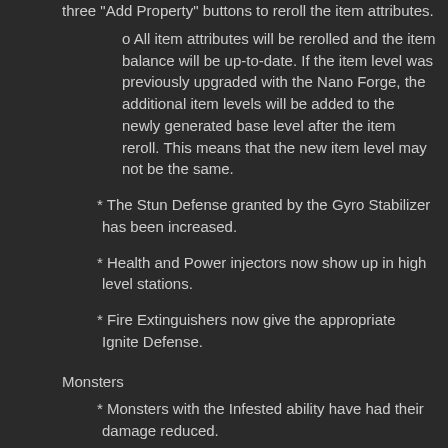three "Add Property" buttons to reroll the item attributes.
o All item attributes will be rerolled and the item balance will be up-to-date. If the item level was previously upgraded with the Nano Forge, the additional item levels will be added to the newly generated base level after the item reroll. This means that the new item level may not be the same.
* The Stun Defense granted by the Gyro Stabilizer has been increased.
* Health and Power injectors now show up in high level stations.
* Fire Extinguishers now give the appropriate Ignite Defense.
Monsters
* Monsters with the Infested ability have had their damage reduced.
Crafting